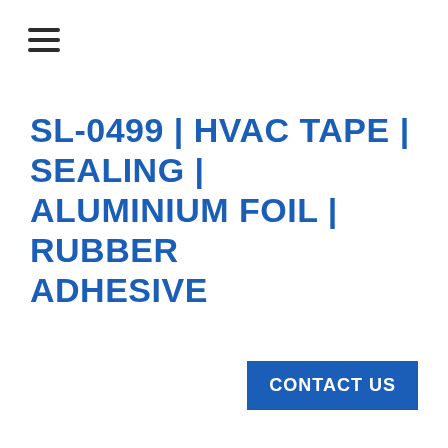[Figure (other): Hamburger menu icon with three horizontal lines]
SL-0499 | HVAC TAPE | SEALING | ALUMINIUM FOIL | RUBBER ADHESIVE
CONTACT US